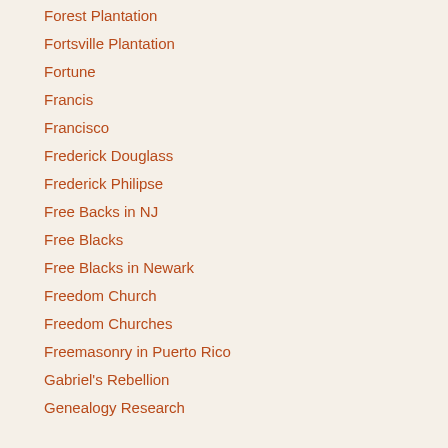Forest Plantation
Fortsville Plantation
Fortune
Francis
Francisco
Frederick Douglass
Frederick Philipse
Free Backs in NJ
Free Blacks
Free Blacks in Newark
Freedom Church
Freedom Churches
Freemasonry in Puerto Rico
Gabriel's Rebellion
Genealogy Research